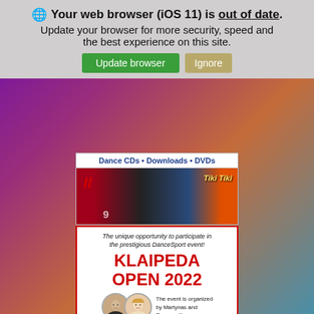🌐 Your web browser (iOS 11) is out of date. Update your browser for more security, speed and the best experience on this site.
Update browser   Ignore
[Figure (screenshot): Dance CDs • Downloads • DVDs banner with album covers including Tiki Tiki]
[Figure (infographic): Klaipeda Open 2022 event flyer - WDSF Open Ranking For U21, Youth and Junior, organized by Martynas and Ramune Kuros]